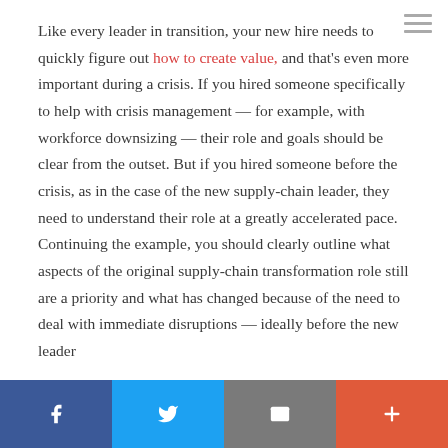Like every leader in transition, your new hire needs to quickly figure out how to create value, and that's even more important during a crisis. If you hired someone specifically to help with crisis management — for example, with workforce downsizing — their role and goals should be clear from the outset. But if you hired someone before the crisis, as in the case of the new supply-chain leader, they need to understand their role at a greatly accelerated pace. Continuing the example, you should clearly outline what aspects of the original supply-chain transformation role still are a priority and what has changed because of the need to deal with immediate disruptions — ideally before the new leader